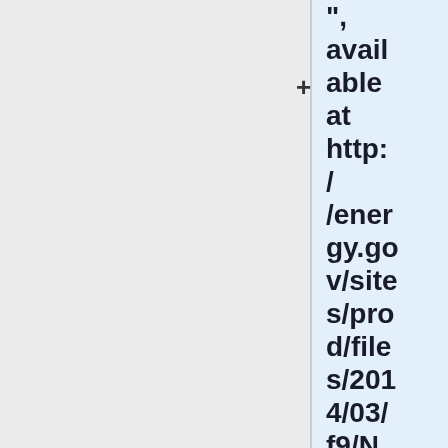", available at http://energy.gov/sites/prod/files/2014/03/f9/NEPA_CEQA_FinalHandbook